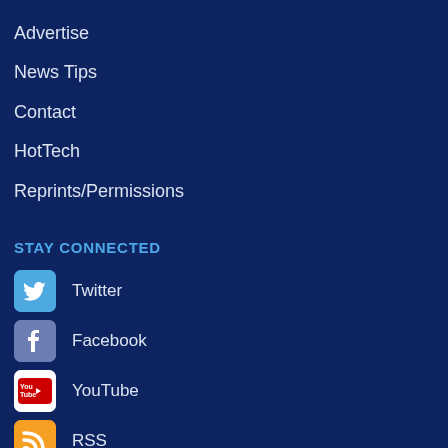Advertise
News Tips
Contact
HotTech
Reprints/Permissions
STAY CONNECTED
Twitter
Facebook
YouTube
RSS